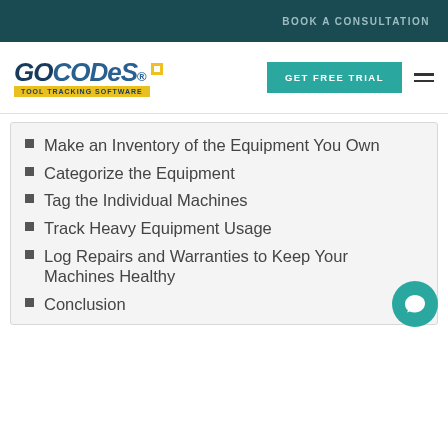BOOK A CONSULTATION
[Figure (logo): GoCodes Tool Tracking Software logo with teal GET FREE TRIAL button and hamburger menu]
Make an Inventory of the Equipment You Own
Categorize the Equipment
Tag the Individual Machines
Track Heavy Equipment Usage
Log Repairs and Warranties to Keep Your Machines Healthy
Conclusion